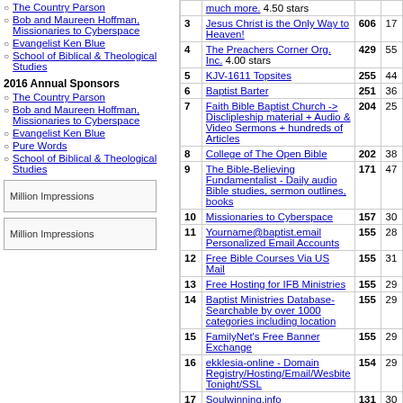The Country Parson
Bob and Maureen Hoffman, Missionaries to Cyberspace
Evangelist Ken Blue
School of Biblical & Theological Studies
2016 Annual Sponsors
The Country Parson
Bob and Maureen Hoffman, Missionaries to Cyberspace
Evangelist Ken Blue
Pure Words
School of Biblical & Theological Studies
[Figure (other): Million Impressions banner ad image]
[Figure (other): Million Impressions banner ad image]
| # | Site | In |  |
| --- | --- | --- | --- |
|  | much more. 4.50 stars |  |  |
| 3 | Jesus Christ is the Only Way to Heaven! | 606 | 17 |
| 4 | The Preachers Corner Org. Inc. 4.00 stars | 429 | 55 |
| 5 | KJV-1611 Topsites | 255 | 44 |
| 6 | Baptist Barter | 251 | 36 |
| 7 | Faith Bible Baptist Church -> Disclipleship material + Audio & Video Sermons + hundreds of Articles | 204 | 25 |
| 8 | College of The Open Bible | 202 | 38 |
| 9 | The Bible-Believing Fundamentalist - Daily audio Bible studies, sermon outlines, books | 171 | 47 |
| 10 | Missionaries to Cyberspace | 157 | 30 |
| 11 | Yourname@baptist.email Personalized Email Accounts | 155 | 28 |
| 12 | Free Bible Courses Via US Mail | 155 | 31 |
| 13 | Free Hosting for IFB Ministries | 155 | 29 |
| 14 | Baptist Ministries Database-Searchable by over 1000 categories including location | 155 | 29 |
| 15 | FamilyNet's Free Banner Exchange | 155 | 29 |
| 16 | ekklesia-online - Domain Registry/Hosting/Email/Wesbite Tonight/SSL | 154 | 29 |
| 17 | Soulwinning.info | 131 | 30 |
| 18 | Bible Truth | 124 | 28 |
| 19 | The U.S.Bible Society | 96 | 12 |